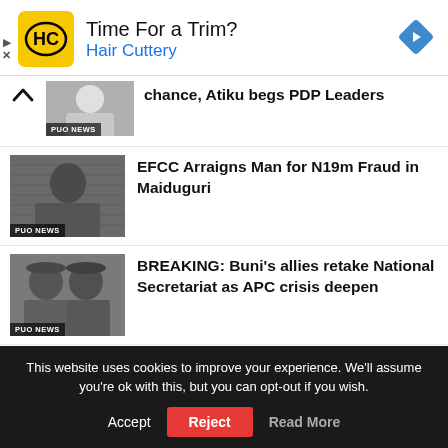[Figure (screenshot): Hair Cuttery advertisement banner with HC logo, 'Time For a Trim?' headline, blue navigation arrow diamond icon]
chance, Atiku begs PDP Leaders
[Figure (photo): Partial news thumbnail with PUO NEWS badge]
EFCC Arraigns Man for N19m Fraud in Maiduguri
[Figure (photo): News thumbnail showing man in dark clothing with PUO NEWS badge]
BREAKING: Buni's allies retake National Secretariat as APC crisis deepen
[Figure (photo): News thumbnail showing two men in traditional caps with PUO NEWS badge]
This website uses cookies to improve your experience. We'll assume you're ok with this, but you can opt-out if you wish.